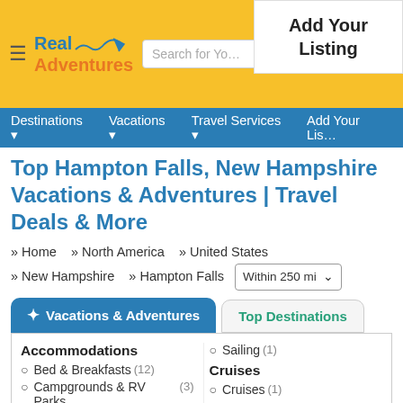[Figure (screenshot): Real Adventures website header with logo, search bar, and Add Your Listing button]
Destinations  Vacations  Travel Services  Add Your Listing
Top Hampton Falls, New Hampshire Vacations & Adventures | Travel Deals & More
» Home  » North America  » United States  » New Hampshire  » Hampton Falls  Within 250 mi
Vacations & Adventures
Top Destinations
Accommodations
Bed & Breakfasts (12)
Campgrounds & RV Parks (3)
Hotels & Resorts (175)
Vacation Rentals (2)
Sailing (1)
Cruises
Cruises (1)
Fishing & Hunting
Fishing Trips (13)
+ See More